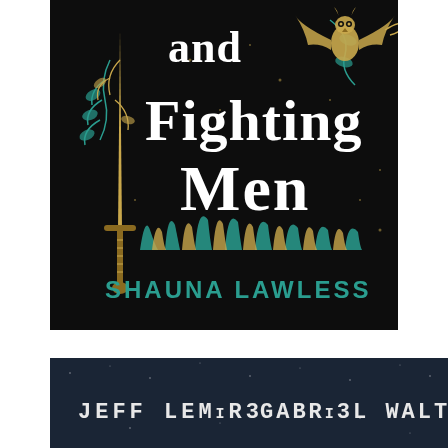[Figure (illustration): Book cover showing partial title text 'and Fighting Men' by Shauna Lawless. Dark black background with decorative gold and teal botanical motifs, a gold sword on the left side, a winged owl in the upper right corner, and teal flame-like foliage in the lower portion. Title text in white serif font, author name 'SHAUNA LAWLESS' in teal capital letters at bottom.]
[Figure (illustration): Partial book cover showing credits 'JEFF LEMIRE' and 'GABRIEL WALTA' in stylized sci-fi font on a dark starry background.]